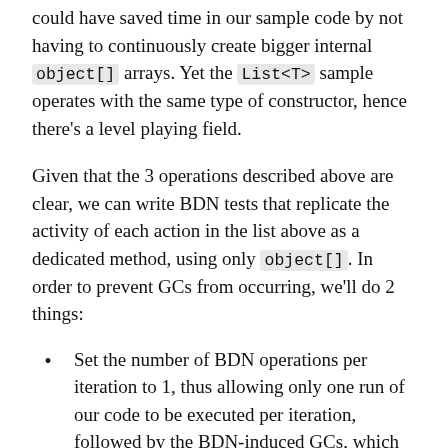could have saved time in our sample code by not having to continuously create bigger internal object[] arrays. Yet the List<T> sample operates with the same type of constructor, hence there's a level playing field.
Given that the 3 operations described above are clear, we can write BDN tests that replicate the activity of each action in the list above as a dedicated method, using only object[]. In order to prevent GCs from occurring, we'll do 2 things:
Set the number of BDN operations per iteration to 1, thus allowing only one run of our code to be executed per iteration, followed by the BDN-induced GCs, which clear the slate. This way we don't allow the memory allocation “effects” to build-up between successive runs, as was the case